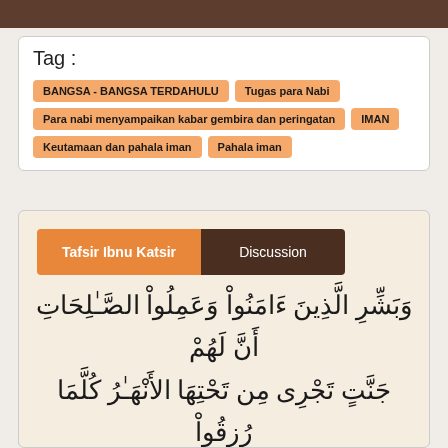Tag :
BANGSA - BANGSA TERDAHULU
Tugas para Nabi
Para nabi menyampaikan kabar gembira dan peringatan
IMAN
Keutamaan dan pahala iman
Pahala iman
Tafsir Ibnu Katsir | Discussion
وَبَشِّرِ الَّذِينَ ءَامَنُواْ وَعَمِلُواْ الصَّـلِحَاتِ أَنَّ لَهُمْ جَنَّتٍ تَجْرِى مِن تَحْتِهَا الأَنْهَرُ كُلَّمَا رُزِقُواْ مِنْهَا مِن ثَمَرَةٍ رِّزْقاً قَالُواْ هَـذَا الَّذِى رُزِقْنَا مِن